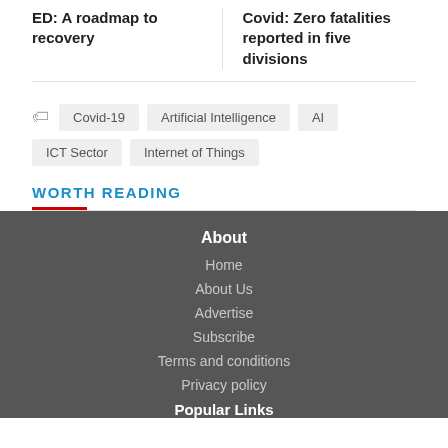ED: A roadmap to recovery
Covid: Zero fatalities reported in five divisions
Covid-19
Artificial Intelligence
AI
ICT Sector
Internet of Things
WORTH READING
About
Home
About Us
Advertise
Subscribe
Terms and conditions
Privacy policy
Popular Links